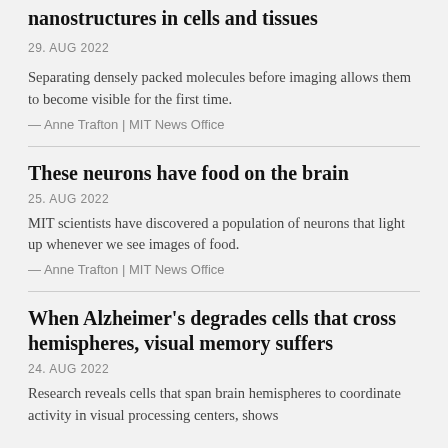nanostructures in cells and tissues
29. AUG 2022
Separating densely packed molecules before imaging allows them to become visible for the first time.
— Anne Trafton | MIT News Office
These neurons have food on the brain
25. AUG 2022
MIT scientists have discovered a population of neurons that light up whenever we see images of food.
— Anne Trafton | MIT News Office
When Alzheimer's degrades cells that cross hemispheres, visual memory suffers
24. AUG 2022
Research reveals cells that span brain hemispheres to coordinate activity in visual processing centers, shows